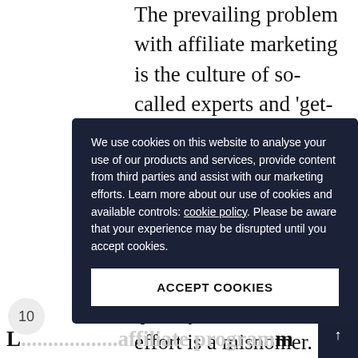The prevailing problem with affiliate marketing is the culture of so-called experts and 'get-rich-quick' schemes that have developed around this otherwise logical sales model. The suggestion that affiliate marketing can be scaled quickly and with little effort is a misnomer. Financial gain through affiliate marketing is predicated on re... e... nd n...
th...
[Figure (screenshot): Cookie consent overlay on dark navy background with white text reading: 'We use cookies on this website to analyse your use of our products and services, provide content from third parties and assist with our marketing efforts. Learn more about our use of cookies and available controls: cookie policy. Please be aware that your experience may be disrupted until you accept cookies.' Below is a white 'ACCEPT COOKIES' button.]
10
8m...
L...affiliate program